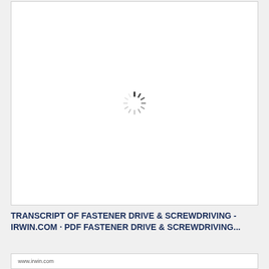[Figure (screenshot): A loading spinner (circular progress indicator with radiating tick marks) centered in a white document preview frame with a thin border, indicating a PDF page is loading.]
TRANSCRIPT OF FASTENER DRIVE & SCREWDRIVING - IRWIN.COM · PDF FASTENER DRIVE & SCREWDRIVING...
www.irwin.com